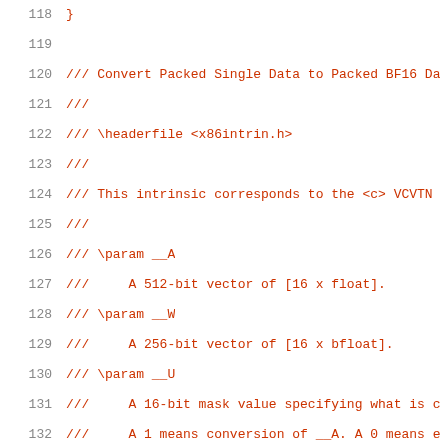118  }
119
120  /// Convert Packed Single Data to Packed BF16 Da
121  ///
122  /// \headerfile <x86intrin.h>
123  ///
124  /// This intrinsic corresponds to the <c> VCVTN
125  ///
126  /// \param __A
127  ///     A 512-bit vector of [16 x float].
128  /// \param __W
129  ///     A 256-bit vector of [16 x bfloat].
130  /// \param __U
131  ///     A 16-bit mask value specifying what is c
132  ///     A 1 means conversion of __A. A 0 means e
133  /// \returns A 256-bit vector of [16 x bfloat]
134  static __inline__ __m256bh __DEFAULT_FN_ATTRS51
135  _mm512_mask_cvtneps_pbh(__m256bh __W, __mmask16
136    return (__m256bh)__builtin_ia32_cvtneps2bf16_
137
138
139  }